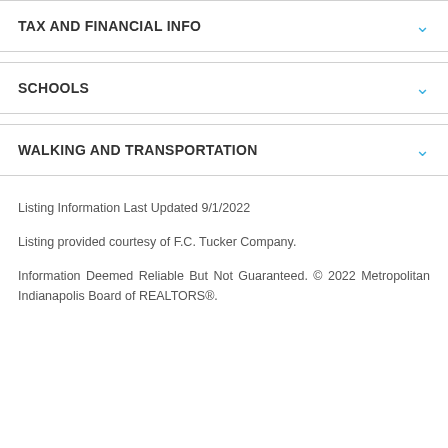TAX AND FINANCIAL INFO
SCHOOLS
WALKING AND TRANSPORTATION
Listing Information Last Updated 9/1/2022
Listing provided courtesy of F.C. Tucker Company.
Information Deemed Reliable But Not Guaranteed. © 2022 Metropolitan Indianapolis Board of REALTORS®.